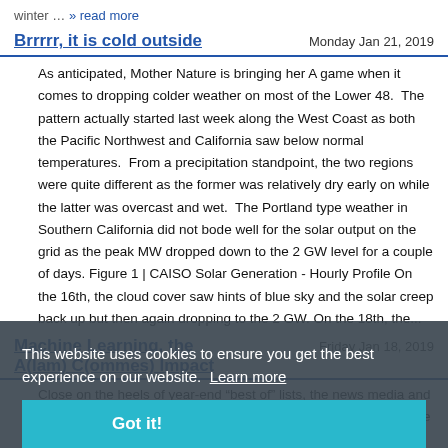winter … » read more
Brrrrr, it is cold outside
Monday Jan 21, 2019
As anticipated, Mother Nature is bringing her A game when it comes to dropping colder weather on most of the Lower 48. The pattern actually started last week along the West Coast as both the Pacific Northwest and California saw below normal temperatures. From a precipitation standpoint, the two regions were quite different as the former was relatively dry early on while the latter was overcast and wet. The Portland type weather in Southern California did not bode well for the solar output on the grid as the peak MW dropped down to the 2 GW level for a couple of days. Figure 1 | CAISO Solar Generation - Hourly Profile On the 16th, the cloud cover saw hints of blue sky and the solar creep back up but then again dropped to the 2 GW. On the 18th, the…
Machine Learning, the A(lam) C(ommes) Impact
Friday Jan 18, 2019
Close on the heels of year-end "best of" lists, the news media and trend-followers issue their New Year predictions. According to the
This website uses cookies to ensure you get the best experience on our website. Learn more
Got it!